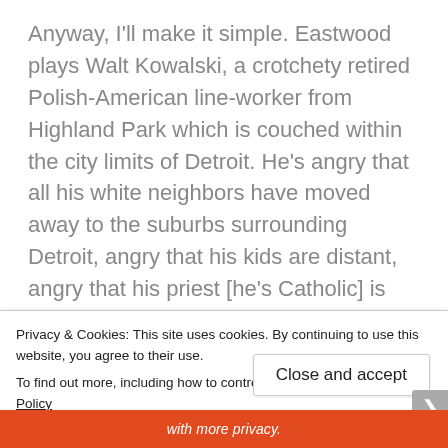Anyway, I'll make it simple. Eastwood plays Walt Kowalski, a crotchety retired Polish-American line-worker from Highland Park which is couched within the city limits of Detroit. He's angry that all his white neighbors have moved away to the suburbs surrounding Detroit, angry that his kids are distant, angry that his priest [he's Catholic] is young and inexperienced, angry that his wife passed away, angry that poor Hmong refugees now surround his neighborhood, angry that crime rates are up and that Detroit is struggling.
Privacy & Cookies: This site uses cookies. By continuing to use this website, you agree to their use.
To find out more, including how to control cookies, see here: Cookie Policy
Close and accept
with more privacy.